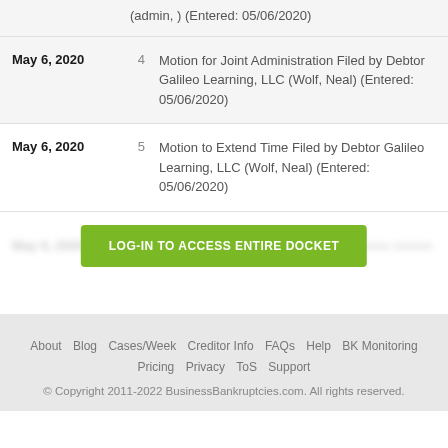(admin, ) (Entered: 05/06/2020)
| Date | # | Description |
| --- | --- | --- |
| May 6, 2020 | 4 | Motion for Joint Administration Filed by Debtor Galileo Learning, LLC (Wolf, Neal) (Entered: 05/06/2020) |
| May 6, 2020 | 5 | Motion to Extend Time Filed by Debtor Galileo Learning, LLC (Wolf, Neal) (Entered: 05/06/2020) |
LOG-IN TO ACCESS ENTIRE DOCKET
About Blog Cases/Week Creditor Info FAQs Help BK Monitoring Pricing Privacy ToS Support © Copyright 2011-2022 BusinessBankruptcies.com. All rights reserved.